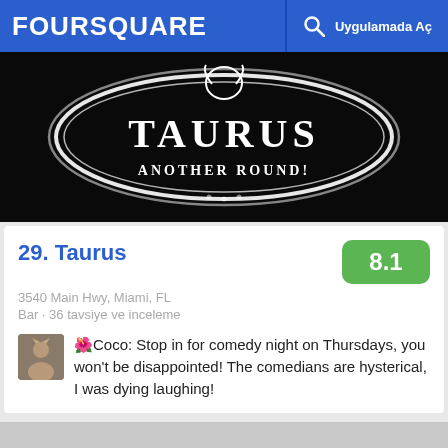FOURSQUARE   Uygulamada Aç
[Figure (photo): Night photo of a glowing oval sign reading 'TAURUS ANOTHER ROUND!' on a black background]
29. Taurus
3540 Main Hwy, Miami, FL
Bar · 36 tavsiye ve inceleme
🌺Coco: Stop in for comedy night on Thursdays, you won't be disappointed! The comedians are hysterical, I was dying laughing!